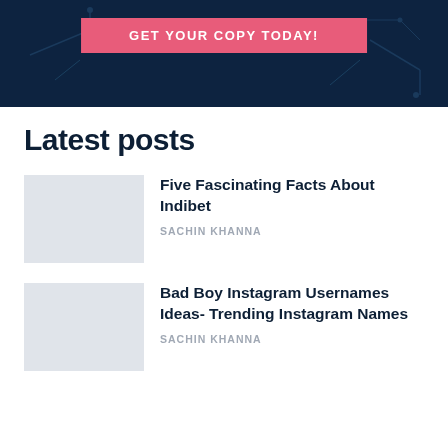[Figure (screenshot): Dark navy banner with pink/salmon button labeled 'GET YOUR COPY TODAY!' and decorative circuit/tech line patterns in the background.]
Latest posts
Five Fascinating Facts About Indibet
SACHIN KHANNA
Bad Boy Instagram Usernames Ideas- Trending Instagram Names
SACHIN KHANNA